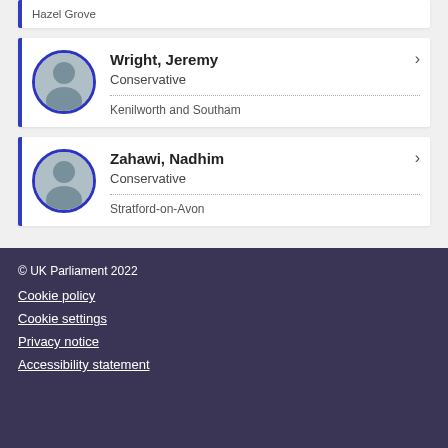Hazel Grove
Wright, Jeremy | Conservative | Kenilworth and Southam
Zahawi, Nadhim | Conservative | Stratford-on-Avon
© UK Parliament 2022
Cookie policy
Cookie settings
Privacy notice
Accessibility statement